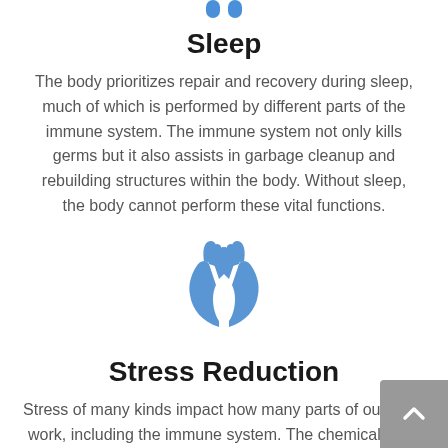[Figure (illustration): Partial blue icon cut off at top of page (sleep/moon icon, partially visible)]
Sleep
The body prioritizes repair and recovery during sleep, much of which is performed by different parts of the immune system. The immune system not only kills germs but it also assists in garbage cleanup and rebuilding structures within the body. Without sleep, the body cannot perform these vital functions.
[Figure (illustration): Blue praying hands emoji icon]
Stress Reduction
Stress of many kinds impact how many parts of our body work, including the immune system. The chemicals and brain signals